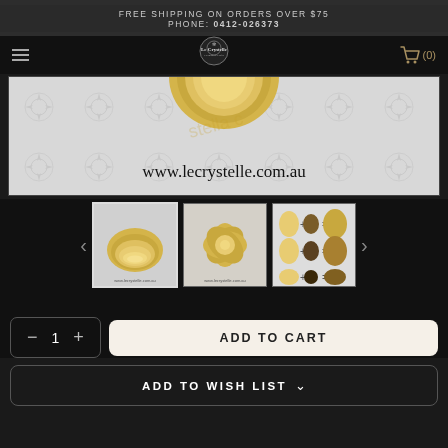FREE SHIPPING ON ORDERS OVER $75
PHONE: 0412-026373
[Figure (logo): Le Crystelle logo with circular emblem]
[Figure (photo): Product image showing layered petal shapes on decorative lace background with URL www.lecrystelle.com.au]
[Figure (photo): Thumbnail 1: Stacked oval petal shapes in yellow/gold]
[Figure (photo): Thumbnail 2: Flower shape in yellow/gold]
[Figure (photo): Thumbnail 3: Assembly instructions for oval petals]